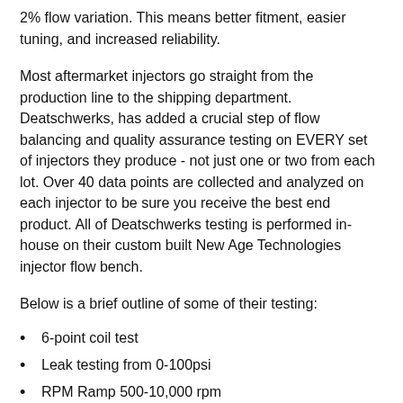2% flow variation. This means better fitment, easier tuning, and increased reliability.
Most aftermarket injectors go straight from the production line to the shipping department. Deatschwerks, has added a crucial step of flow balancing and quality assurance testing on EVERY set of injectors they produce - not just one or two from each lot. Over 40 data points are collected and analyzed on each injector to be sure you receive the best end product. All of Deatschwerks testing is performed in-house on their custom built New Age Technologies injector flow bench.
Below is a brief outline of some of their testing:
6-point coil test
Leak testing from 0-100psi
RPM Ramp 500-10,000 rpm
Pulse Width Ramp 0.5-17ms
Spray pattern analysis (open and pulsed)
Every set of Deatschwerks injectors is accompanied by a full color injector report. This comprehensive report contains information on your specific injectors that is critical to the high